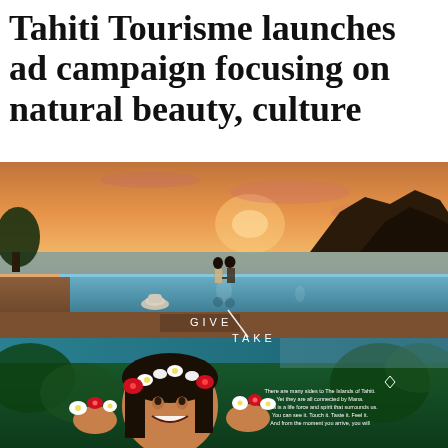Tahiti Tourisme launches ad campaign focusing on natural beauty, culture
[Figure (photo): Two-panel advertisement image from Tahiti Tourisme. Top panel: couple standing at the edge of an infinity pool overlooking the ocean at sunset with dramatic mountain silhouettes and orange sky; text overlay reads 'GIVE / TAKE'. Bottom panel: smiling Tahitian woman holding flowers with lush tropical background; small text overlay reads 'There are many sides to The Islands of Tahiti. Yet they are all connected by Mana. Mana is a life force and spirit that surrounds us. You can see it, touch it, taste it, feel it. And from the moment you arrive, you will...']